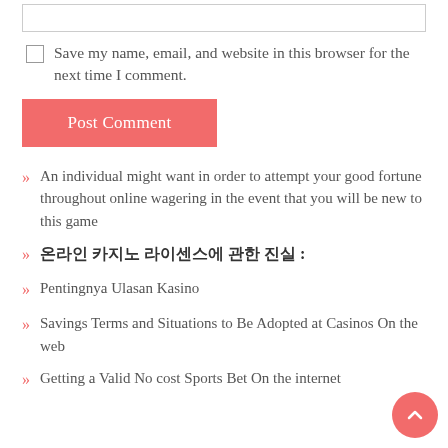[Figure (other): Text input box (comment field)]
Save my name, email, and website in this browser for the next time I comment.
Post Comment
An individual might want in order to attempt your good fortune throughout online wagering in the event that you will be new to this game
온라인 카지노 라이센스에 관한 진실 :
Pentingnya Ulasan Kasino
Savings Terms and Situations to Be Adopted at Casinos On the web
Getting a Valid No cost Sports Bet On the internet